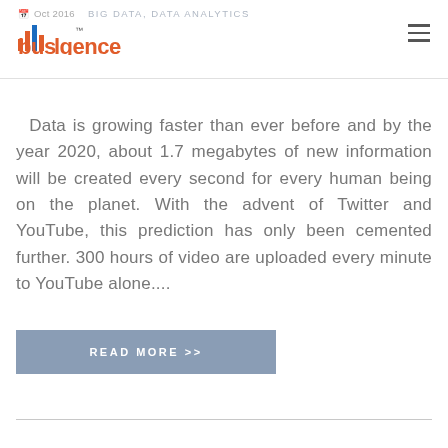Oct 2016  BIG DATA, DATA ANALYTICS  busilgence
Data is growing faster than ever before and by the year 2020, about 1.7 megabytes of new information will be created every second for every human being on the planet. With the advent of Twitter and YouTube, this prediction has only been cemented further. 300 hours of video are uploaded every minute to YouTube alone....
READ MORE >>